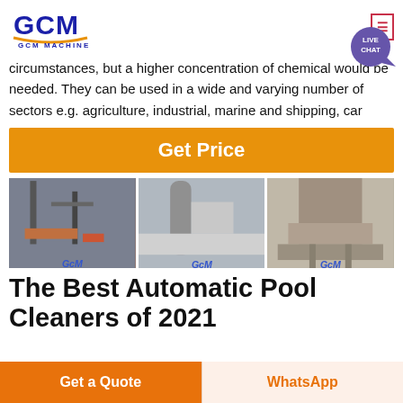GCM MACHINERY
circumstances, but a higher concentration of chemical would be needed. They can be used in a wide and varying number of sectors e.g. agriculture, industrial, marine and shipping, car
Get Price
[Figure (photo): Three photos of industrial machinery/equipment with GCM Machinery watermarks]
The Best Automatic Pool Cleaners of 2021
Get a Quote
WhatsApp